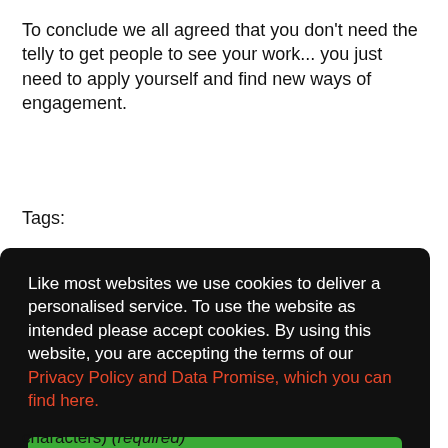To conclude we all agreed that you don't need the telly to get people to see your work... you just need to apply yourself and find new ways of engagement.
Tags:
Like most websites we use cookies to deliver a personalised service. To use the website as intended please accept cookies. By using this website, you are accepting the terms of our Privacy Policy and Data Promise, which you can find here.
Accept Cookies
characters) (required)